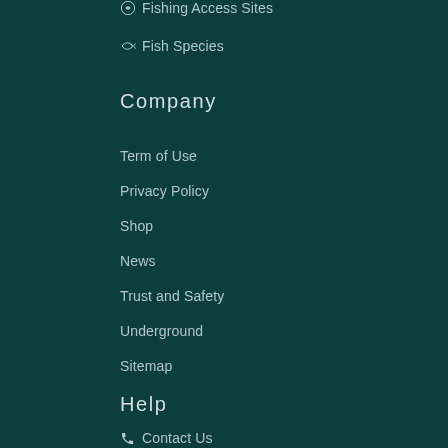Fishing Access Sites
Fish Species
Company
Term of Use
Privacy Policy
Shop
News
Trust and Safety
Underground
Sitemap
Help
Contact Us